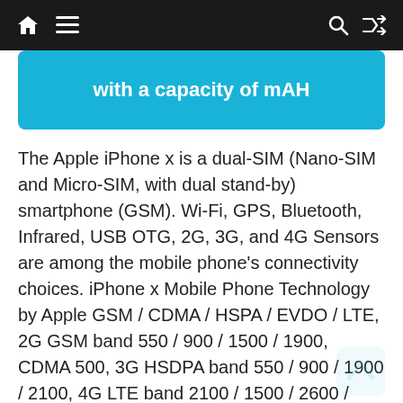Navigation bar with home, menu, search, and shuffle icons
with a capacity of mAH
The Apple iPhone x is a dual-SIM (Nano-SIM and Micro-SIM, with dual stand-by) smartphone (GSM). Wi-Fi, GPS, Bluetooth, Infrared, USB OTG, 2G, 3G, and 4G Sensors are among the mobile phone's connectivity choices. iPhone x Mobile Phone Technology by Apple GSM / CDMA / HSPA / EVDO / LTE, 2G GSM band 550 / 900 / 1500 / 1900, CDMA 500, 3G HSDPA band 550 / 900 / 1900 / 2100, 4G LTE band 2100 / 1500 / 2600 / 900, CDMA 500, 3G HSDPA band 550 / 900 / 1900 / 2100, 4G LTE band 2100 Release date, price, specifications, and finest features of the iPhone 8 Smartphone in the United Kingdom. Apple iPhone X Smartphone